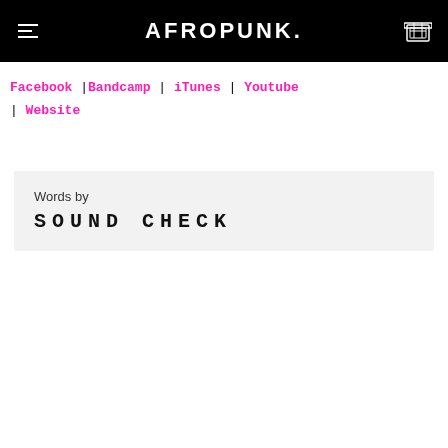AFROPUNK
Facebook | Bandcamp | iTunes | Youtube | Website
Words by
SOUND CHECK